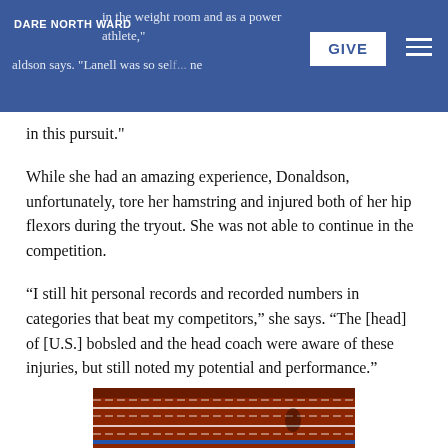Dare North Ward | GIVE
in the weight room and as a power athlete," Donaldson says. "Lanell was so self... in this pursuit."
While she had an amazing experience, Donaldson, unfortunately, tore her hamstring and injured both of her hip flexors during the tryout. She was not able to continue in the competition.
“I still hit personal records and recorded numbers in categories that beat my competitors,” she says. “The [head] of [U.S.] bobsled and the head coach were aware of these injuries, but still noted my potential and performance.”
[Figure (photo): Athletic track photo showing lanes, red track surface with white lane lines and a figure visible]